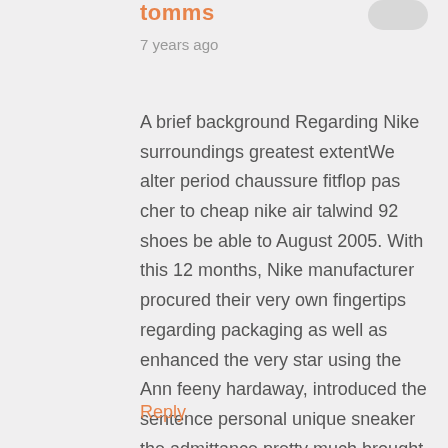tomms
7 years ago
A brief background Regarding Nike surroundings greatest extentWe alter period chaussure fitflop pas cher to cheap nike air talwind 92 shoes be able to August 2005. With this 12 months, Nike manufacturer procured their very own fingertips regarding packaging as well as enhanced the very star using the Ann feeny hardaway, introduced the sentence personal unique sneaker the admittance pretty much brought up of which kind of Nike Feeling The best Brass razoo, and also the invention of shoes or boots
Reply